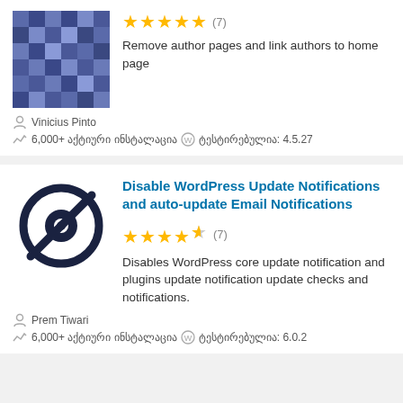[Figure (screenshot): Pixelated blue/purple plugin icon]
Remove author pages and link authors to home page
★★★★★ (7)
Vinicius Pinto
6,000+ აქტიური ინსტალაცია  ტესტირებულია: 4.5.27
Disable WordPress Update Notifications and auto-update Email Notifications
★★★★½ (7)
Disables WordPress core update notification and plugins update notification update checks and notifications.
Prem Tiwari
6,000+ აქტიური ინსტალაცია  ტესტირებულია: 6.0.2